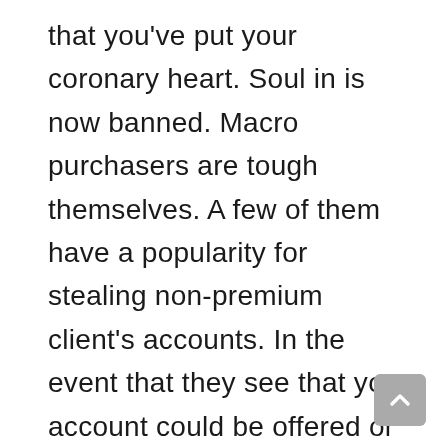that you've put your coronary heart. Soul in is now banned. Macro purchasers are tough themselves. A few of them have a popularity for stealing non-premium client's accounts. In the event that they see that your account could be offered or used to earn actual cash for themselves, and you are not paying them for his or her providers, these shoppers may steal your info. So in a method or the opposite you'll must wave goodbye to your OSRS or RS3 account eventually. The right way to Avoid Getting Your RuneScape Account Banned? If you wish to keep away from bans or issues with possession of an